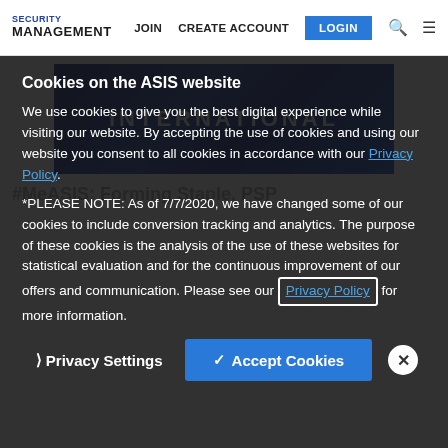SECURITY MANAGEMENT | JOIN | CREATE ACCOUNT | LOGIN
[Figure (screenshot): Blue banner with the text INTERNATIONAL on a dark blue background with digital network imagery]
Cookies on the ASIS website
We use cookies to give you the best digital experience while visiting our website. By accepting the use of cookies and using our website you consent to all cookies in accordance with our Privacy Policy.
*PLEASE NOTE: As of 7/7/2020, we have changed some of our cookies to include conversion tracking and analytics. The purpose of these cookies is the analysis of the use of these websites for statistical evaluation and for the continuous improvement of our offers and communication. Please see our Privacy Policy for more information.
Privacy Settings | ✓ Accept Cookies | ✕